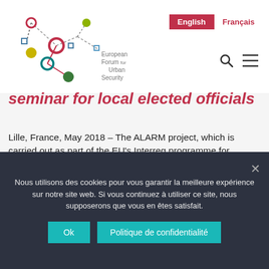[Figure (logo): European Forum for Urban Security logo — colorful network of circles connected by lines, with text 'European Forum for Urban Security']
English | Français
seminar for local elected officials
Lille, France, May 2018 – The ALARM project, which is carried out as part of the EU's Interreg programme for territorial cooperation between France, Wallonia and Flanders, held…
In Uncategorized
Nous utilisons des cookies pour vous garantir la meilleure expérience sur notre site web. Si vous continuez à utiliser ce site, nous supposerons que vous en êtes satisfait.
Ok | Politique de confidentialité